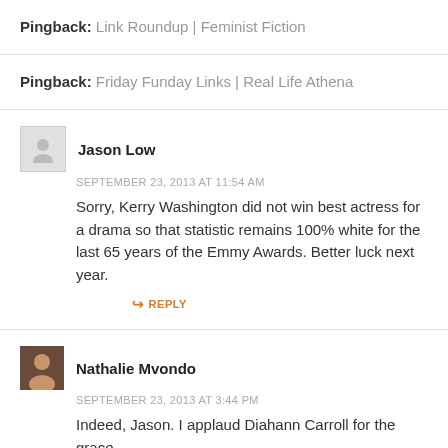Pingback: Link Roundup | Feminist Fiction
Pingback: Friday Funday Links | Real Life Athena
Jason Low
SEPTEMBER 23, 2013 AT 11:54 AM
Sorry, Kerry Washington did not win best actress for a drama so that statistic remains 100% white for the last 65 years of the Emmy Awards. Better luck next year.
REPLY
Nathalie Mvondo
SEPTEMBER 23, 2013 AT 3:44 PM
Indeed, Jason. I applaud Diahann Carroll for the grace